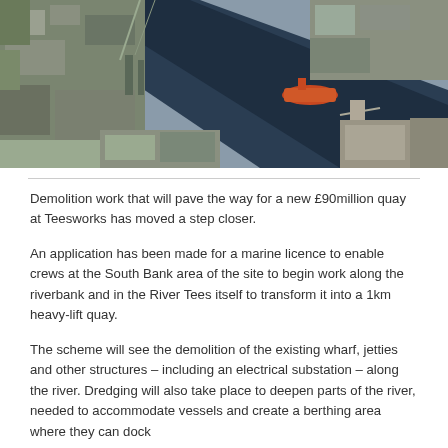[Figure (photo): Aerial view of a river port/industrial area showing docks, waterways, industrial buildings, and a vessel on the water at Teesworks South Bank area]
Demolition work that will pave the way for a new £90million quay at Teesworks has moved a step closer.
An application has been made for a marine licence to enable crews at the South Bank area of the site to begin work along the riverbank and in the River Tees itself to transform it into a 1km heavy-lift quay.
The scheme will see the demolition of the existing wharf, jetties and other structures – including an electrical substation – along the river. Dredging will also take place to deepen parts of the river, needed to accommodate vessels and create a berthing area where they can dock
The construction of the quay is central to plans to make the